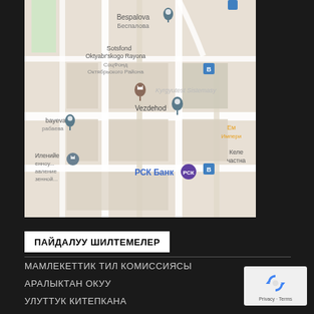[Figure (map): Google Maps screenshot showing an area with landmarks: Bespalova, Sotsfond Oktyabr'skogo Rayona (СоцФонд Октябрьского Района), Kyrgyutest Sistemasy, Vezdehod, РСК Банк, Империя (Ем), Келе частна, bayeva (рабаева), and bus stop icons. Map pins visible for multiple locations.]
ПАЙДАЛУУ ШИЛТЕМЕЛЕР
МАМЛЕКЕТТИК ТИЛ КОМИССИЯСЫ
АРАЛЫКТАН ОКУУ
УЛУТТУК КИТЕПКАНА
ТЕРМИНКОМ